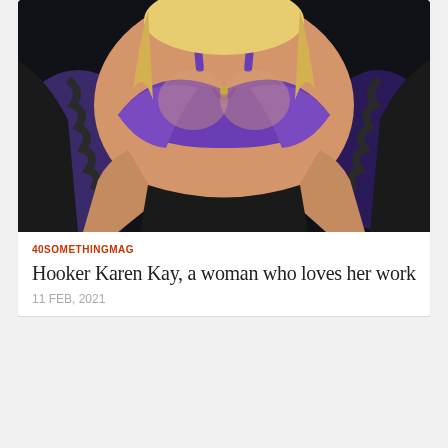[Figure (photo): Close-up photo of a blonde woman wearing a purple bra and dark jacket/coat, photographed from chest up against a dark background with purple chair visible.]
40SOMETHINGMAG
Hooker Karen Kay, a woman who loves her work
11 FEB, 2021